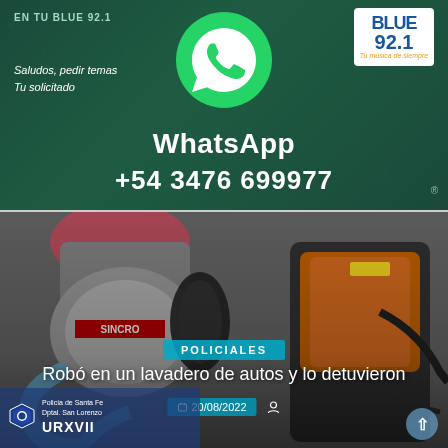[Figure (photo): WhatsApp promotional banner for radio station BLUE 92.1 on dark green background showing WhatsApp phone icon, radio station logo, text 'Saludos, pedir temas Tu solicitado', 'WhatsApp', and phone number '+54 3476 699977']
[Figure (photo): News article card showing photo of power tools (vacuum cleaner and other equipment), with overlay text category badge 'POLICIALES', headline 'Robó en un lavadero de autos y lo detuvieron', date '20/08/2022', and a police badge at bottom left reading 'Policía de Santa Fe Dptal. San Lorenzo URXVII']